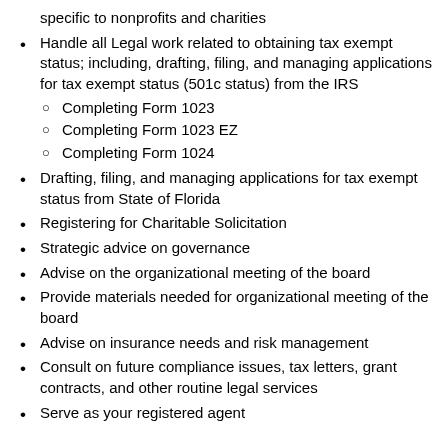specific to nonprofits and charities
Handle all Legal work related to obtaining tax exempt status; including, drafting, filing, and managing applications for tax exempt status (501c status) from the IRS
Completing Form 1023
Completing Form 1023 EZ
Completing Form 1024
Drafting, filing, and managing applications for tax exempt status from State of Florida
Registering for Charitable Solicitation
Strategic advice on governance
Advise on the organizational meeting of the board
Provide materials needed for organizational meeting of the board
Advise on insurance needs and risk management
Consult on future compliance issues, tax letters, grant contracts, and other routine legal services
Serve as your registered agent